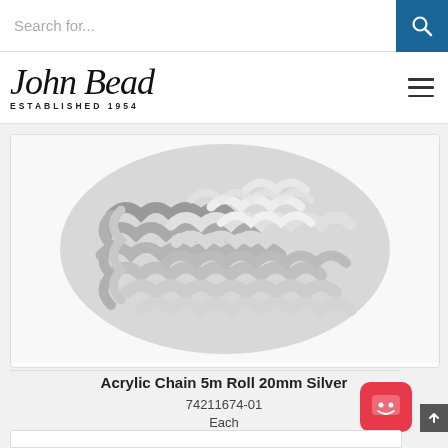Search for...
[Figure (logo): John Bead Established 1954 logo with script font]
[Figure (photo): Acrylic chain 5m roll 20mm silver product photo showing coiled silver metallic chain links]
Acrylic Chain 5m Roll 20mm Silver
74211674-01
Each